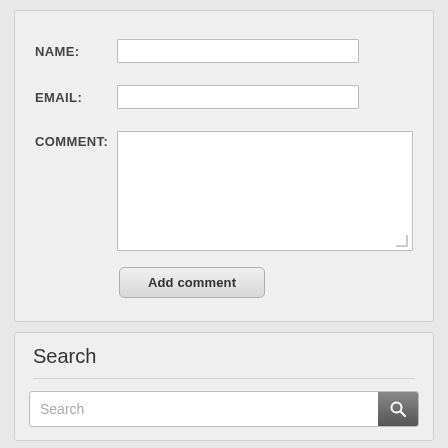NAME:
EMAIL:
COMMENT:
Add comment
Search
Search